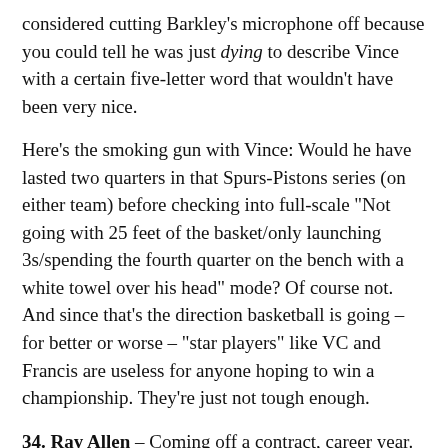considered cutting Barkley's microphone off because you could tell he was just dying to describe Vince with a certain five-letter word that wouldn't have been very nice.
Here's the smoking gun with Vince: Would he have lasted two quarters in that Spurs-Pistons series (on either team) before checking into full-scale "Not going with 25 feet of the basket/only launching 3s/spending the fourth quarter on the bench with a white towel over his head" mode? Of course not. And since that's the direction basketball is going – for better or worse – "star players" like VC and Francis are useless for anyone hoping to win a championship. They're just not tough enough.
34. Ray Allen – Coming off a contract, career year. And he's already 30. But after watching some of those playoff games he had … I mean, are there 15 players that can have a bigger impact on a single game than Ray Allen?